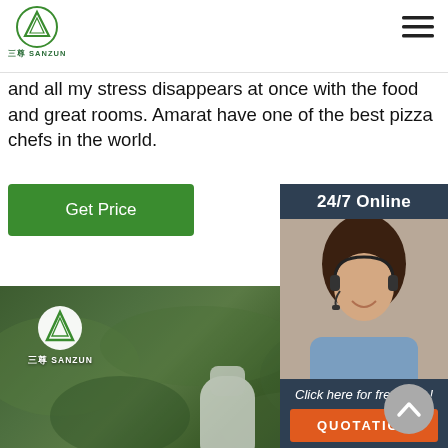三尊 SANZUN logo and navigation
and all my stress disappears at once with the food and great rooms. Amarat have one of the best pizza chefs in the world.
Get Price
24/7 Online
[Figure (photo): Customer service agent woman with headset smiling]
Click here for free chat !
QUOTATION
[Figure (photo): Outdoor photo with greenery and white product (likely LED bulb) with SANZUN logo overlay]
[Figure (illustration): Scroll to top chevron button]